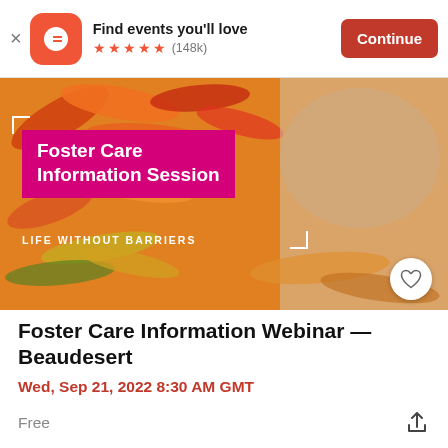[Figure (screenshot): Eventbrite app banner: logo, 'Find events you'll love', star rating (148k), and Continue button]
[Figure (photo): Child smiling among colorful yarn art with pink 'Foster Care Information Session' and 'LIFE WITHOUT BARRIERS' overlay]
Foster Care Information Webinar — Beaudesert
Wed, Sep 21, 2022 8:30 AM GMT
Free